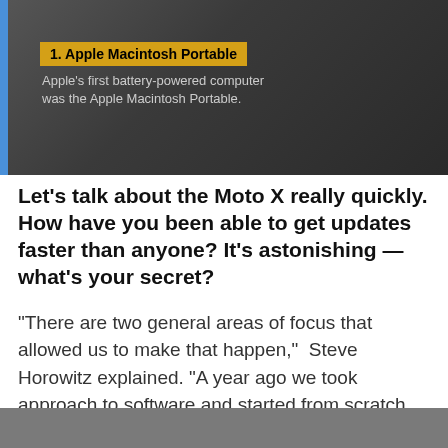[Figure (screenshot): Screenshot thumbnail showing Apple Macintosh Portable with dark overlay background, numbered caption '1. Apple Macintosh Portable' in yellow bar and subtitle text below]
1. Apple Macintosh Portable
Apple's first battery-powered computer was the Apple Macintosh Portable.
Let's talk about the Moto X really quickly. How have you been able to get updates faster than anyone? It's astonishing — what's your secret?
"There are two general areas of focus that allowed us to make that happen," Steve Horowitz explained. "A year ago we took approach to software and started from scratch. We only added a minimal number of things so that we were carrier legal and geographically compliant. We got rid of 70